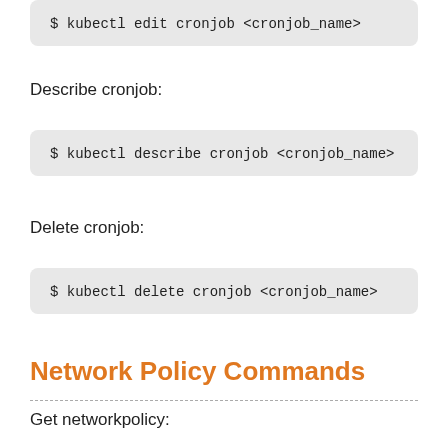$ kubectl edit cronjob <cronjob_name>
Describe cronjob:
$ kubectl describe cronjob <cronjob_name>
Delete cronjob:
$ kubectl delete cronjob <cronjob_name>
Network Policy Commands
Get networkpolicy: